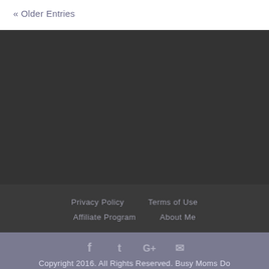« Older Entries
[Figure (other): Dark background section, advertisement or sidebar area]
Privacy Policy   Terms of Use   Affiliate Program   About Me
Copyright 2016. All Rights Reserved. Busy Moms Do